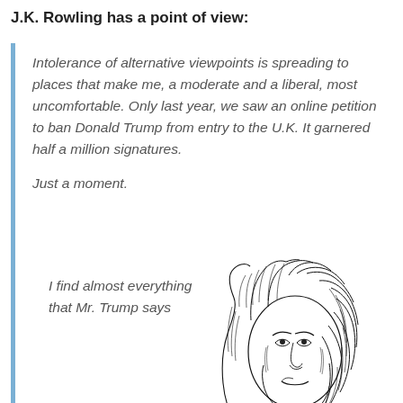J.K. Rowling has a point of view:
Intolerance of alternative viewpoints is spreading to places that make me, a moderate and a liberal, most uncomfortable. Only last year, we saw an online petition to ban Donald Trump from entry to the U.K. It garnered half a million signatures.
Just a moment.
I find almost everything that Mr. Trump says
[Figure (illustration): A pen-and-ink caricature drawing of a woman with long wavy hair, looking downward with a slightly smirking expression. The style is detailed cross-hatching line art.]